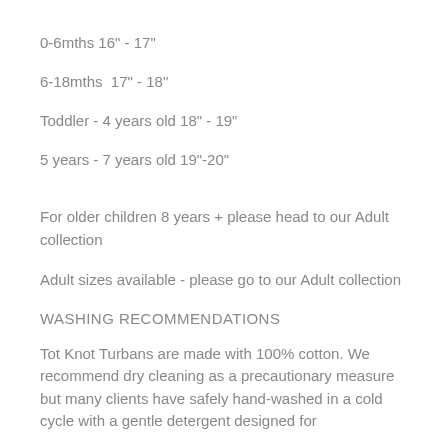0-6mths 16" - 17"
6-18mths  17" - 18"
Toddler - 4 years old 18" - 19"
5 years - 7 years old 19"-20"
For older children 8 years + please head to our Adult collection
Adult sizes available - please go to our Adult collection
WASHING RECOMMENDATIONS
Tot Knot Turbans are made with 100% cotton. We recommend dry cleaning as a precautionary measure but many clients have safely hand-washed in a cold cycle with a gentle detergent designed for